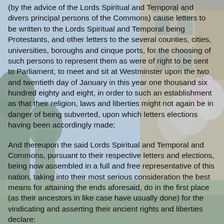(by the advice of the Lords Spiritual and Temporal and divers principal persons of the Commons) cause letters to be written to the Lords Spiritual and Temporal being Protestants, and other letters to the several counties, cities, universities, boroughs and cinque ports, for the choosing of such persons to represent them as were of right to be sent to Parliament, to meet and sit at Westminster upon the two and twentieth day of January in this year one thousand six hundred eighty and eight, in order to such an establishment as that their religion, laws and liberties might not again be in danger of being subverted, upon which letters elections having been accordingly made;
And thereupon the said Lords Spiritual and Temporal and Commons, pursuant to their respective letters and elections, being now assembled in a full and free representative of this nation, taking into their most serious consideration the best means for attaining the ends aforesaid, do in the first place (as their ancestors in like case have usually done) for the vindicating and asserting their ancient rights and liberties declare: